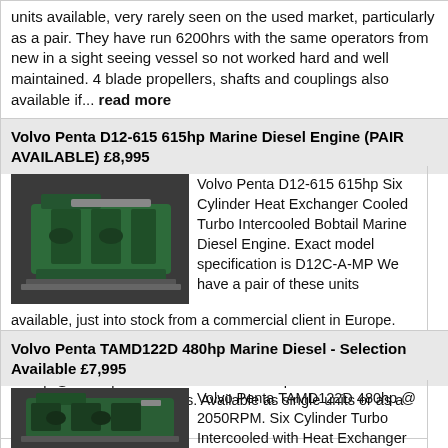units available, very rarely seen on the used market, particularly as a pair. They have run 6200hrs with the same operators from new in a sight seeing vessel so not worked hard and well maintained. 4 blade propellers, shafts and couplings also available if... read more
Volvo Penta D12-615 615hp Marine Diesel Engine (PAIR AVAILABLE) £8,995
[Figure (photo): Photo of a Volvo Penta D12-615 marine diesel engine on a pallet, green engine block visible]
Volvo Penta D12-615 615hp Six Cylinder Heat Exchanger Cooled Turbo Intercooled Bobtail Marine Diesel Engine. Exact model specification is D12C-A-MP We have a pair of these units available, just into stock from a commercial client in Europe. Very clean condition and well maintained in good running order with approx. 9000hrs running time. 12 Litre units producing 615hp @ 2100rpm. 24V Electrics and complete with instrumentation and controls. Available as single units or as a pair. Pr... read more
Volvo Penta TAMD122D 480hp Marine Diesel - Selection Available £7,995
[Figure (photo): Photo of a Volvo Penta TAMD122D marine diesel engine, green engine visible]
Volvo Penta TAMD122D 480hp @ 2050RPM. Six Cylinder Turbo Intercooled with Heat Exchanger Cooling. We have a number of these engines available with remarkably low running hours (sub